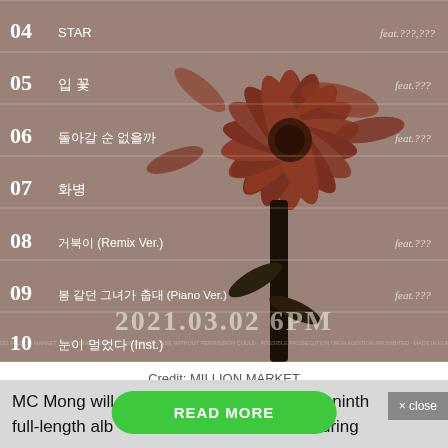[Figure (illustration): Album tracklist image for MC Mong's ninth album showing a dark flower (gerbera daisy) on a warm brown/taupe background with white Korean and English track listings numbered 04-10, release date 2021.03.02 6PM, and credit: MILLION MARKET]
Credit: MILLION MARKET
× close
MC Mong will w... in his ninth full-length alb... the featuring
READ MORE